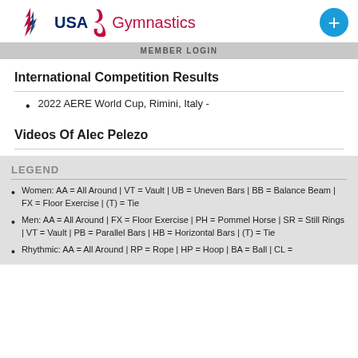USA Gymnastics — MEMBER LOGIN
International Competition Results
2022 AERE World Cup, Rimini, Italy -
Videos Of Alec Pelezo
LEGEND
Women: AA = All Around | VT = Vault | UB = Uneven Bars | BB = Balance Beam | FX = Floor Exercise | (T) = Tie
Men: AA = All Around | FX = Floor Exercise | PH = Pommel Horse | SR = Still Rings | VT = Vault | PB = Parallel Bars | HB = Horizontal Bars | (T) = Tie
Rhythmic: AA = All Around | RP = Rope | HP = Hoop | BA = Ball | CL =